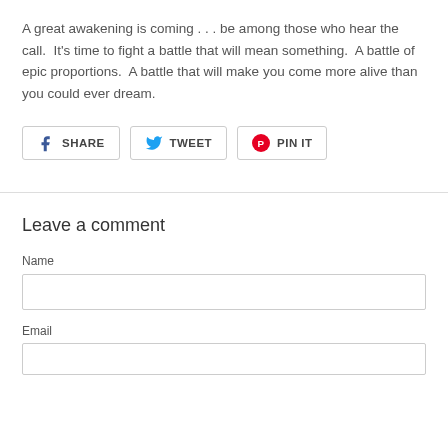A great awakening is coming . . . be among those who hear the call.  It's time to fight a battle that will mean something.  A battle of epic proportions.  A battle that will make you come more alive than you could ever dream.
[Figure (other): Social sharing buttons: Facebook Share, Twitter Tweet, Pinterest Pin It]
Leave a comment
Name
Email